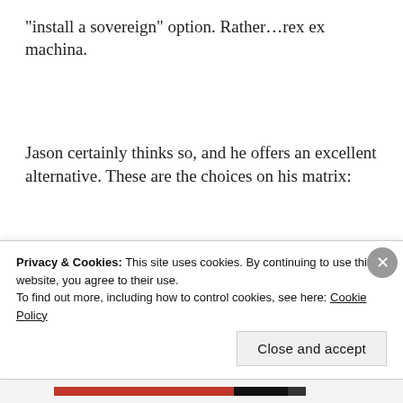“install a sovereign” option. Rather…rex ex machina.
Jason certainly thinks so, and he offers an excellent alternative. These are the choices on his matrix:
1. Cooperate (and do not coerce other player)
Privacy & Cookies: This site uses cookies. By continuing to use this website, you agree to their use.
To find out more, including how to control cookies, see here: Cookie Policy
Close and accept